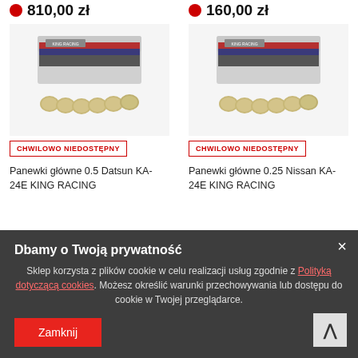810,00 zł
160,00 zł
[Figure (photo): Product photo: King Racing bearing set in box with individual bearing shells displayed in front]
CHWILOWO NIEDOSTĘPNY
Panewki główne 0.5 Datsun KA-24E KING RACING
[Figure (photo): Product photo: King Racing bearing set in box with individual bearing shells displayed in front]
CHWILOWO NIEDOSTĘPNY
Panewki główne 0.25 Nissan KA-24E KING RACING
Dbamy o Twoją prywatność
Sklep korzysta z plików cookie w celu realizacji usług zgodnie z Polityką dotyczącą cookies. Możesz określić warunki przechowywania lub dostępu do cookie w Twojej przeglądarce.
Zamknij